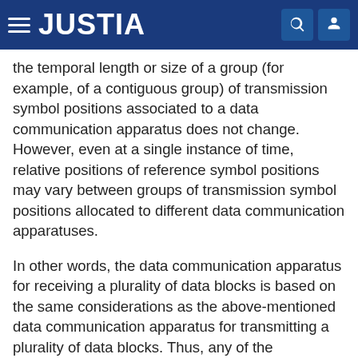JUSTIA
the temporal length or size of a group (for example, of a contiguous group) of transmission symbol positions associated to a data communication apparatus does not change. However, even at a single instance of time, relative positions of reference symbol positions may vary between groups of transmission symbol positions allocated to different data communication apparatuses.
In other words, the data communication apparatus for receiving a plurality of data blocks is based on the same considerations as the above-mentioned data communication apparatus for transmitting a plurality of data blocks. Thus, any of the considerations provided herein with respect to the data communication apparatus for transmitting a plurality of data blocks also apply to the data communication apparatus for receiving a plurality of data blocks. However, the data